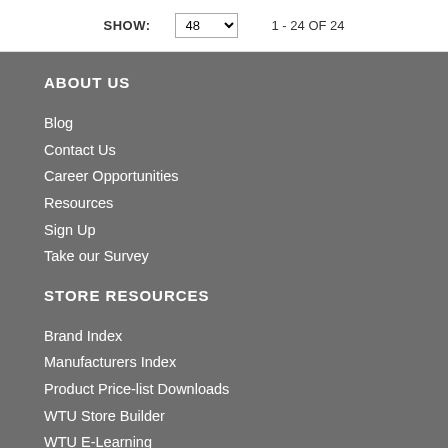SHOW: 48   1 - 24 OF 24
ABOUT US
Blog
Contact Us
Career Opportunities
Resources
Sign Up
Take our Survey
STORE RESOURCES
Brand Index
Manufacturers Index
Product Price-list Downloads
WTU Store Builder
WTU E-Learning
New Vendor Application
New Account Application